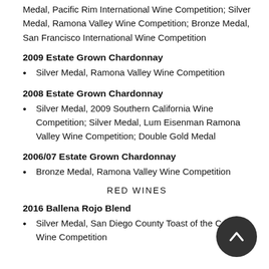Medal, Pacific Rim International Wine Competition; Silver Medal, Ramona Valley Wine Competition; Bronze Medal, San Francisco International Wine Competition
2009 Estate Grown Chardonnay
Silver Medal, Ramona Valley Wine Competition
2008 Estate Grown Chardonnay
Silver Medal, 2009 Southern California Wine Competition; Silver Medal, Lum Eisenman Ramona Valley Wine Competition; Double Gold Medal
2006/07 Estate Grown Chardonnay
Bronze Medal, Ramona Valley Wine Competition
RED WINES
2016 Ballena Rojo Blend
Silver Medal, San Diego County Toast of the Coast Wine Competition